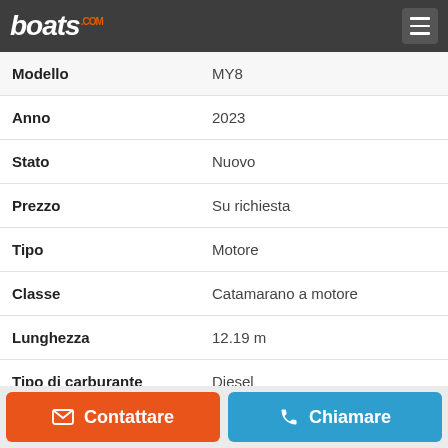boats.com
| Campo | Valore |
| --- | --- |
| Modello | MY8 |
| Anno | 2023 |
| Stato | Nuovo |
| Prezzo | Su richiesta |
| Tipo | Motore |
| Classe | Catamarano a motore |
| Lunghezza | 12.19 m |
| Tipo di carburante | Diesel |
| Materiale scafo | Vetroresina |
| Ubicazione | West Haverstraw, New York, Stati Uniti |
Contattare
Chiamare